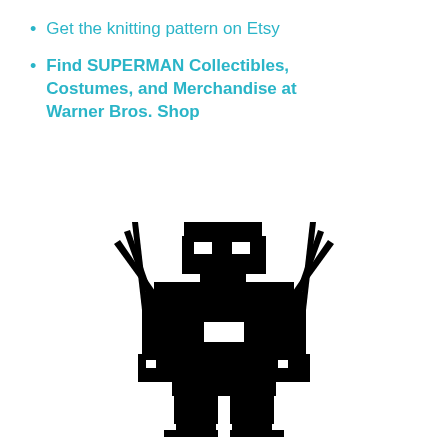Get the knitting pattern on Etsy
Find SUPERMAN Collectibles, Costumes, and Merchandise at Warner Bros. Shop
[Figure (illustration): Black silhouette illustration of Wolverine character with claws extended on white background, pixelated/cross-stitch style]